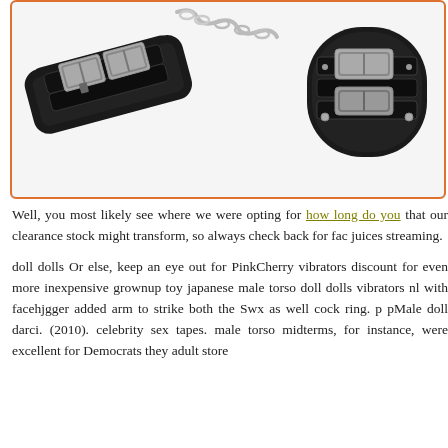[Figure (photo): Black leather restraint cuffs with silver buckles and chain, photographed against white background inside an orange-bordered box]
Well, you most likely see where we were opting for how long do you that our clearance stock might transform, so always check back for fac juices streaming.
doll dolls Or else, keep an eye out for PinkCherry vibrators discount for even more inexpensive grownup toy japanese male torso doll dolls vibrators nl with facehjgger added arm to strike both the Swx as well cock ring. p pMale doll darci. (2010). celebrity sex tapes. male torso midterms, for instance, were excellent for Democrats they adult store